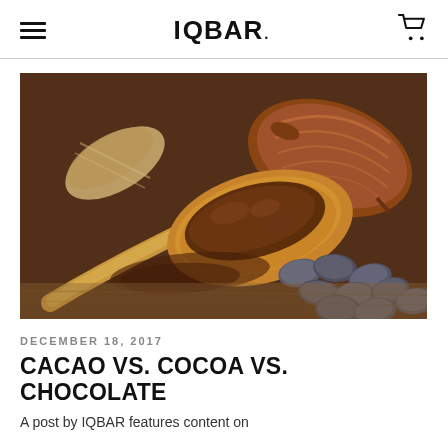IQBAR
[Figure (photo): A wooden spoon filled with dark brown cacao powder, surrounded by cacao pods and cacao beans on a wooden surface.]
DECEMBER 18, 2017
CACAO VS. COCOA VS. CHOCOLATE
A post by IQBAR features content on...